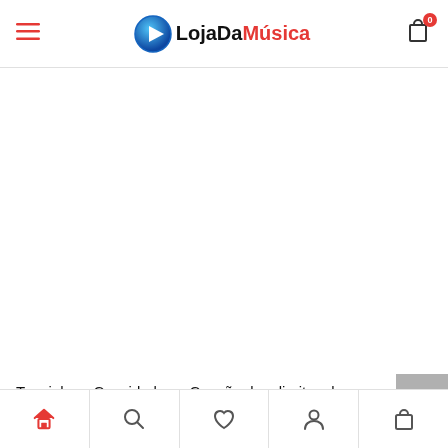LojaDaMúsica
[Figure (other): Product image area (blank/white) for music product]
Toquinho e Convidados – Canção dos direitos da criança
(0)
€ 14.00 € 19.50
Home | Search | Wishlist | Account | Bag